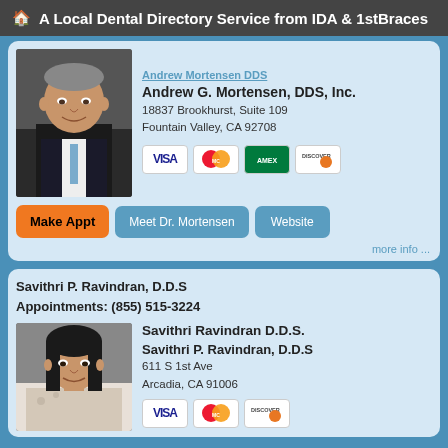A Local Dental Directory Service from IDA & 1stBraces
Andrew G. Mortensen, DDS, Inc.
18837 Brookhurst, Suite 109
Fountain Valley, CA 92708
Make Appt | Meet Dr. Mortensen | Website
more info ...
Savithri P. Ravindran, D.D.S
Appointments: (855) 515-3224
Savithri Ravindran D.D.S.
Savithri P. Ravindran, D.D.S
611 S 1st Ave
Arcadia, CA 91006